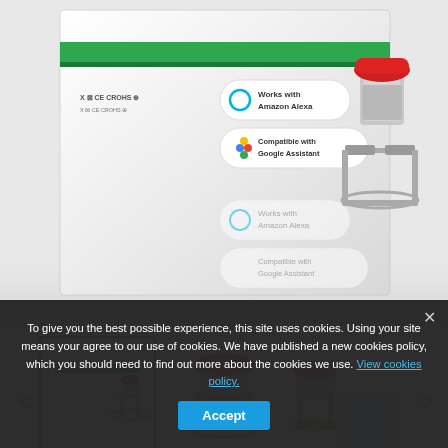[Figure (photo): Product main image showing NOUS Tuya Zigbee Smart Valve in packaging box with Amazon Alexa and Google Assistant compatibility badges, and the valve hardware shown mounted on pipe]
[Figure (photo): Thumbnail gallery row with three images: product box (active/selected with purple border), valve device standalone, and valve with smartphone]
NOUS – TUYA ZIGBEE 3.0 SMART WA...
Reference NOUS-E2S...
To give you the best possible experience, this site uses cookies. Using your site means your agree to our use of cookies. We have published a new cookies policy, which you should need to find out more about the cookies we use. View cookies policy.  Accept